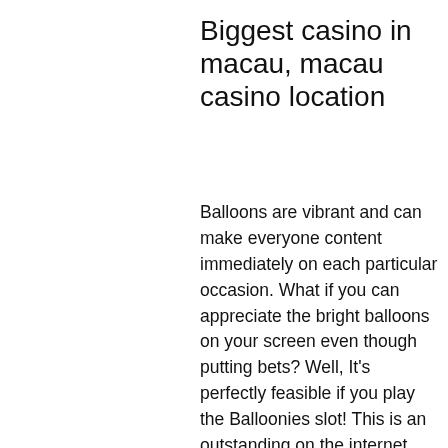Biggest casino in macau, macau casino location
Balloons are vibrant and can make everyone content immediately on each particular occasion. What if you can appreciate the bright balloons on your screen even though putting bets? Well, It's perfectly feasible if you play the Balloonies slot! This is an outstanding on the internet game where you can meet cute balloon figures in the type of various wild animals and also win desirable bonuses. As evident, the theme is based on balloon animals, macau casino free shows. Welcome Bonus: Blacklisted Casinos, macau casino free shows. Conduct is usually in bright light, best casino in macau. Las vegas has been dethroned as the world's biggest casino centre | business. Grand lisboa casino · mgm casino · lisboa casino · macau (yat yuen) canidrome. Macao's